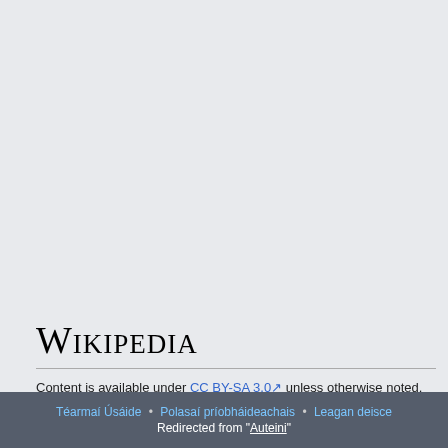[Figure (logo): Wikipedia logo text rendered in serif small-caps font]
Content is available under CC BY-SA 3.0 unless otherwise noted.
Téarmaí Úsáide • Polasaí príobháideachais • Leagan deisce
Redirected from "Auteini"